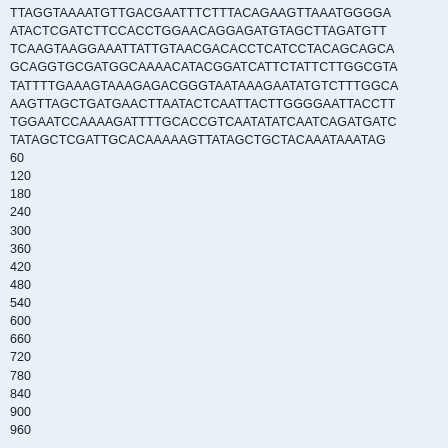TTAGGTAAAATGTTGACGAATTTCTTTACAGAAGTTAAATGGGGA
ATACTCGATCTTCCACCTGGAACAGGAGATGTAGCTTAGATGTT
TCAAGTAAGGAAATTATTGTAACGACACCTCATCCTACAGCAGCA
GCAGGTGCGATGGCAAAACATACGGATCATTCTATTCTTGGCGTA
TATTTTGAAAGTAAAGAGACGGGTAATAAAGAATATGTCTTTGGCA
AAGTTAGCTGATGAACTTAATACTCAATTACTTGGGGAATTACCTT
TGGAATCCAAAAGATTTTGCACCGTCAATATATCAATCAGATGATC
TATAGCTCGATTGCACAAAAAGTTATAGCTGCTACAAATAAATAG
60
120
180
240
300
360
420
480
540
600
660
720
780
840
900
960